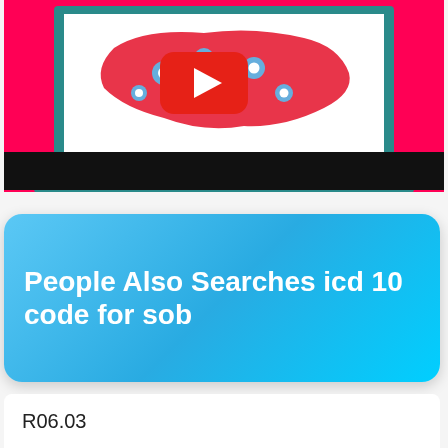[Figure (screenshot): YouTube video thumbnail showing a laptop with a red US map and virus icons, YouTube play button overlay, on a red/coral background with a black bar at the bottom.]
People Also Searches icd 10 code for sob
R06.03
R06.03